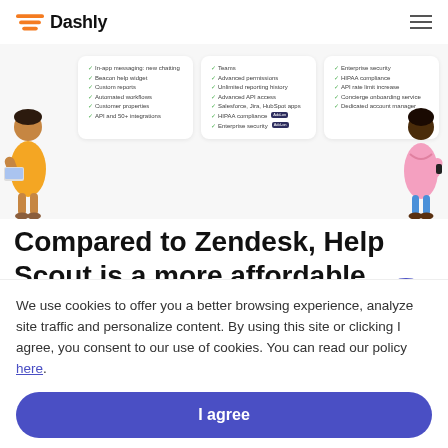Dashly
[Figure (illustration): Pricing cards strip with three plan feature lists, flanked by two illustrated female characters]
Compared to Zendesk, Help Scout is a more affordable alternative. There are three plans.
We use cookies to offer you a better browsing experience, analyze site traffic and personalize content. By using this site or clicking I agree, you consent to our use of cookies. You can read our policy here.
I agree